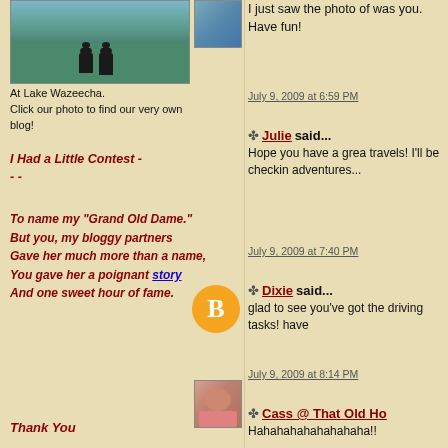[Figure (photo): Photo of two chess piece figurines on a green surface near water at Lake Wazeecha]
At Lake Wazeecha. Click our photo to find our very own blog!
I Had a Little Contest - - -
To name my "Grand Old Dame." But you, my bloggy partners Gave her much more than a name, You gave her a poignant story And one sweet hour of fame.
Thank You
[Figure (photo): Small thumbnail photo - scenic view]
I just saw the photo of was you. Have fun!
July 9, 2009 at 6:59 PM
[Figure (logo): Blogger orange circle B logo]
Julie said... Hope you have a great travels! I'll be checking adventures...
July 9, 2009 at 7:40 PM
[Figure (photo): Avatar photo of woman with sunglasses in pink top]
Dixie said... glad to see you've got the driving tasks! have
July 9, 2009 at 8:14 PM
[Figure (photo): Thumbnail photo of house/building exterior]
Cass @ That Old Ho... Hahahahahahahahaha!!